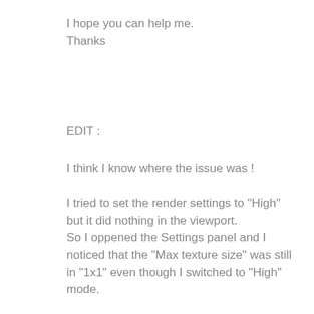I hope you can help me.
Thanks
EDIT :
I think I know where the issue was !
I tried to set the render settings to "High" but it did nothing in the viewport.
So I oppened the Settings panel and I noticed that the "Max texture size" was still in "1x1" even though I switched to "High" mode.